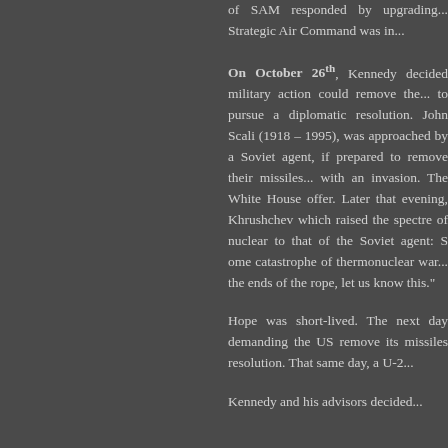of SAM responded by upgrading... Strategic Air Command was in...
On October 26th, Kennedy ...military action could remove th... to pursue a diplomatic resol... John Scali (1918 – 1995),... approached by a Soviet ag... prepared to remove their miss... with an invasion. The White H... offer. Later that evening, Khr... which raised the spectre of nu... to that of the Soviet agent: ...catastrophe of thermonuclear ... the ends of the rope, let us k... this."
Hope was short-lived. The ne... demanding the US remove i... resolution. That same day, a U...
Kennedy and his advisors o...